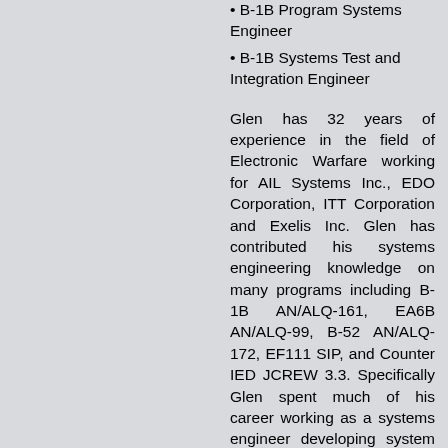B-1B Program Systems Engineer
B-1B Systems Test and Integration Engineer
Glen has 32 years of experience in the field of Electronic Warfare working for AIL Systems Inc., EDO Corporation, ITT Corporation and Exelis Inc. Glen has contributed his systems engineering knowledge on many programs including B-1B AN/ALQ-161, EA6B AN/ALQ-99, B-52 AN/ALQ-172, EF111 SIP, and Counter IED JCREW 3.3. Specifically Glen spent much of his career working as a systems engineer developing system performance requirements, performing systems